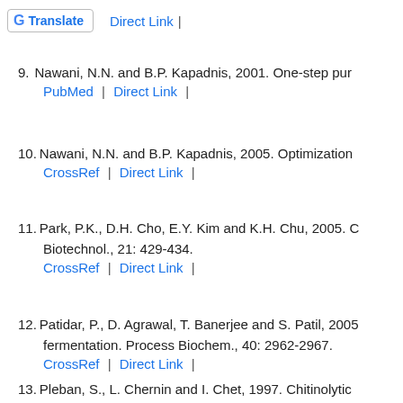[Figure (logo): Google Translate button with G logo and 'Translate' label]
9. Nawani, N.N. and B.P. Kapadnis, 2001. One-step pur...
PubMed | Direct Link |
10. Nawani, N.N. and B.P. Kapadnis, 2005. Optimization...
CrossRef | Direct Link |
11. Park, P.K., D.H. Cho, E.Y. Kim and K.H. Chu, 2005. C... Biotechnol., 21: 429-434.
CrossRef | Direct Link |
12. Patidar, P., D. Agrawal, T. Banerjee and S. Patil, 2005... fermentation. Process Biochem., 40: 2962-2967.
CrossRef | Direct Link |
13. Pleban, S., L. Chernin and I. Chet, 1997. Chitinolytic...